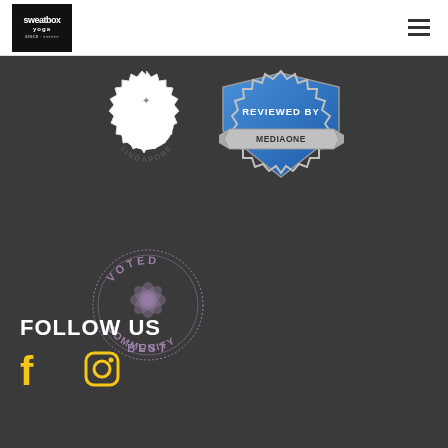[Figure (logo): Sweatbox Yoga logo — black background with white text]
[Figure (logo): Hamburger/menu icon — three horizontal lines]
[Figure (illustration): Singapore award badge — white scalloped circle with text 'SINGAPORE']
[Figure (illustration): Reviewed by MediaOne badge — blue shield with silver ribbon]
[Figure (illustration): Voted Community Best badge — purple/mauve circular badge with floral design]
FOLLOW US
[Figure (illustration): Facebook icon in yellow/gold]
[Figure (illustration): Instagram icon in yellow/gold]